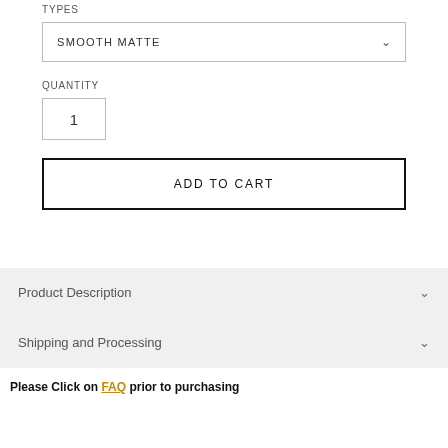TYPES
SMOOTH MATTE
QUANTITY
1
ADD TO CART
Product Description
Shipping and Processing
Please Click on FAQ prior to purchasing